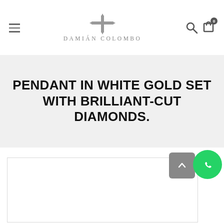Damián Colombo — navigation header with logo, hamburger menu, search and cart icons
PENDANT IN WHITE GOLD SET WITH BRILLIANT-CUT DIAMONDS.
[Figure (other): Blank product image area / placeholder for jewelry photo]